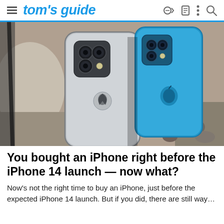tom's guide
[Figure (photo): Two iPhones leaning against a stone surface outdoors — a silver/graphite iPhone 12 Pro Max and a blue iPhone 12, showing their rear cameras and Apple logos]
You bought an iPhone right before the iPhone 14 launch — now what?
Now's not the right time to buy an iPhone, just before the expected iPhone 14 launch. But if you did, there are still way…